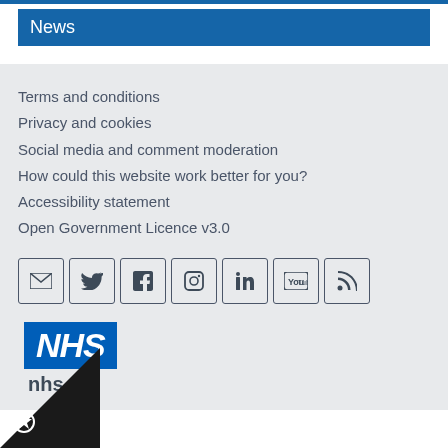News
Terms and conditions
Privacy and cookies
Social media and comment moderation
How could this website work better for you?
Accessibility statement
Open Government Licence v3.0
[Figure (infographic): Social media icons: email, Twitter, Facebook, Instagram, LinkedIn, YouTube, RSS feed]
[Figure (logo): NHS logo with nhs.uk text and crown copyright symbol]